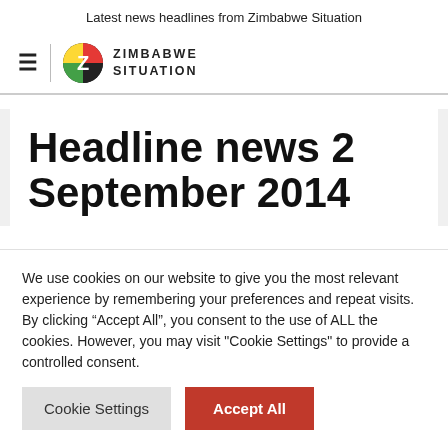Latest news headlines from Zimbabwe Situation
[Figure (logo): Zimbabwe Situation logo with hamburger menu icon, circular Z logo in red, yellow and green, and text ZIMBABWE SITUATION]
Headline news 2 September 2014
We use cookies on our website to give you the most relevant experience by remembering your preferences and repeat visits. By clicking “Accept All”, you consent to the use of ALL the cookies. However, you may visit "Cookie Settings" to provide a controlled consent.